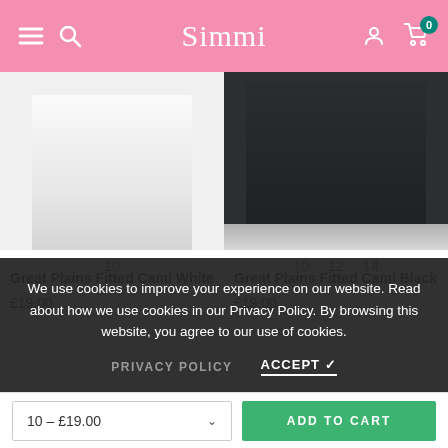Simmi
[Figure (photo): White fitted cami top on white background with size indicator showing size 10]
10
Great Plains Fitted Cami White
£19.00
[Figure (photo): Black fitted cami top on dark background with size indicators showing sizes 10, 12, 14]
10  12  14
Great Plains Fitted Cami Black
£19.00
We use cookies to improve your experience on our website. Read about how we use cookies in our Privacy Policy. By browsing this website, you agree to our use of cookies.
PRIVACY POLICY
ACCEPT ✓
10 – £19.00
ADD TO CART